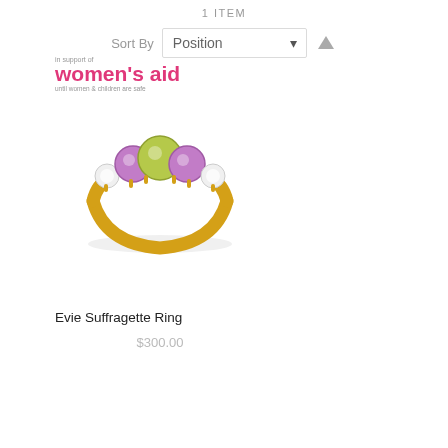1 ITEM
Sort By  Position
[Figure (photo): Women's Aid charity logo with text 'in support of women's aid until women & children are safe', and a gold ring with purple amethyst and green peridot gemstones]
Evie Suffragette Ring
$300.00